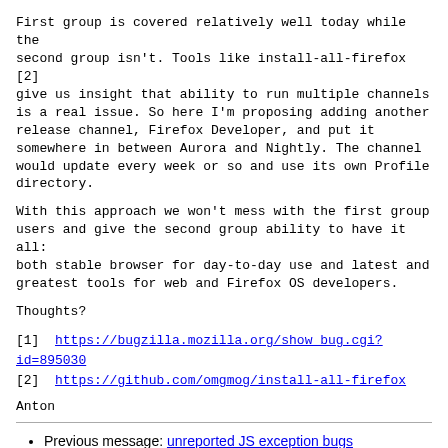First group is covered relatively well today while the second group isn't. Tools like install-all-firefox [2] give us insight that ability to run multiple channels is a real issue. So here I'm proposing adding another release channel, Firefox Developer, and put it somewhere in between Aurora and Nightly. The channel would update every week or so and use its own Profile directory.
With this approach we won't mess with the first group users and give the second group ability to have it all: both stable browser for day-to-day use and latest and greatest tools for web and Firefox OS developers.
Thoughts?
[1]  https://bugzilla.mozilla.org/show_bug.cgi?id=895030
[2]  https://github.com/omgmog/install-all-firefox
Anton
Previous message: unreported JS exception bugs
Next message: Firefox Developer channel
Messages sorted by: [ date ] [ thread ] [ subject ] [ author ]
More information about the firefox-dev mailing list